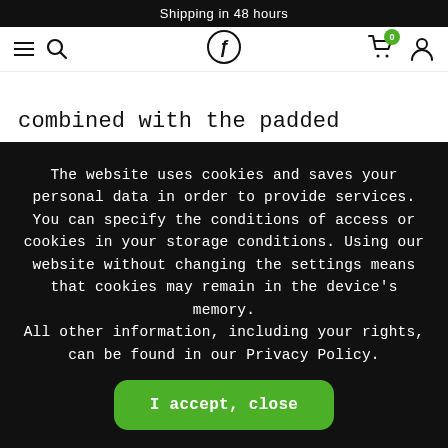Shipping in 48 hours
combined with the padded standing platform, you've got the option to paddle or cast either sitting or standing, whether you're inland or on the open sea – this kayak fears no water.
The website uses cookies and saves your personal data in order to provide services. You can specify the conditions of access or cookies in your storage conditions. Using our website without changing the settings means that cookies may remain in the device's memory.
All other information, including your rights, can be found in our Privacy Policy.
I accept, close